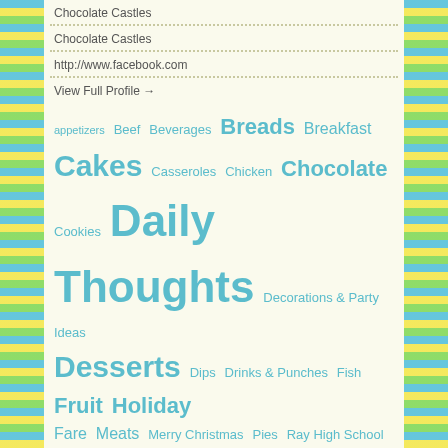Chocolate Castles
Chocolate Castles
http://www.facebook.com
View Full Profile →
appetizers  Beef  Beverages  Breads  Breakfast  Cakes  Casseroles  Chicken  Chocolate  Cookies  Daily Thoughts  Decorations & Party Ideas  Desserts  Dips  Drinks & Punches  Fish  Fruit  Holiday Fare  Meats  Merry Christmas  Pies  Ray High School  Salads  Soups  Starches  Super Bowl Recipes  Uncategorized  Vegetables
SEARCH BY RECIPE TITLE